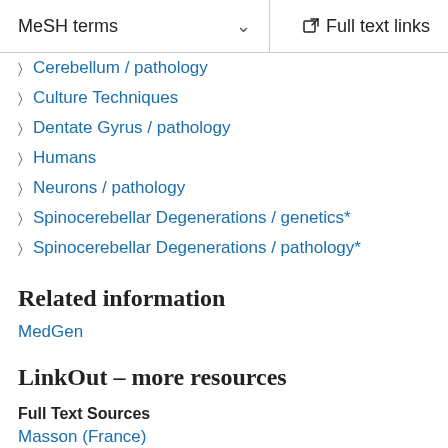MeSH terms   Full text links
Cerebellum / pathology
Culture Techniques
Dentate Gyrus / pathology
Humans
Neurons / pathology
Spinocerebellar Degenerations / genetics*
Spinocerebellar Degenerations / pathology*
Related information
MedGen
LinkOut – more resources
Full Text Sources
Masson (France)